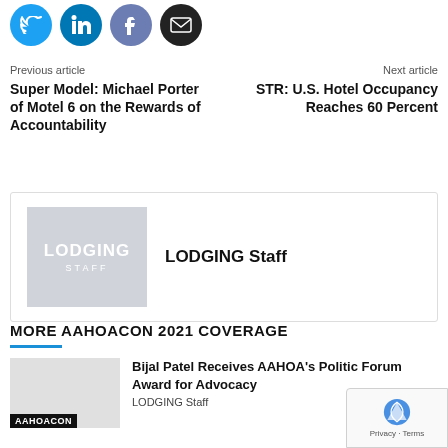[Figure (illustration): Social share icons: Twitter (blue), LinkedIn (blue), Facebook (blue-gray), Email (black)]
Previous article
Super Model: Michael Porter of Motel 6 on the Rewards of Accountability
Next article
STR: U.S. Hotel Occupancy Reaches 60 Percent
[Figure (logo): LODGING Staff logo — gray square with LODGING STAFF text in white]
LODGING Staff
MORE AAHOACON 2021 COVERAGE
Bijal Patel Receives AAHOA's Political Forum Award for Advocacy
AAHOACON
LODGING Staff